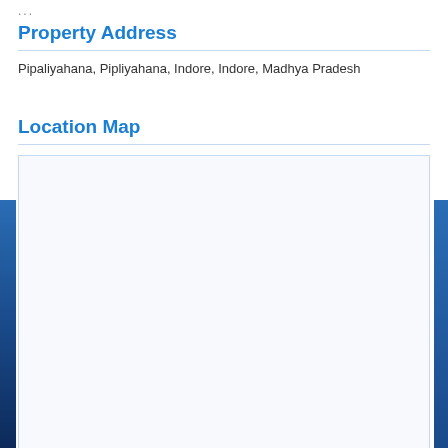...
Property Address
Pipaliyahana, Pipliyahana, Indore, Indore, Madhya Pradesh
Location Map
[Figure (map): Location map placeholder — blank white map area with light border]